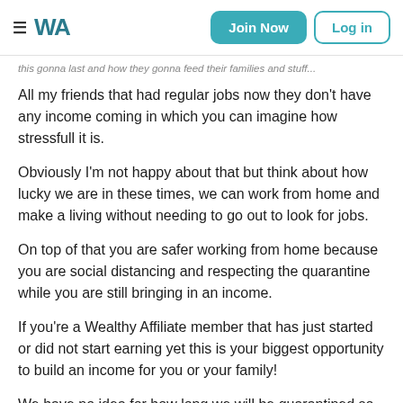≡ WA | Join Now | Log in
this gonna last and how they gonna feed their families and stuff...
All my friends that had regular jobs now they don't have any income coming in which you can imagine how stressfull it is.
Obviously I'm not happy about that but think about how lucky we are in these times, we can work from home and make a living without needing to go out to look for jobs.
On top of that you are safer working from home because you are social distancing and respecting the quarantine while you are still bringing in an income.
If you're a Wealthy Affiliate member that has just started or did not start earning yet this is your biggest opportunity to build an income for you or your family!
We have no idea for how long we will be quarantined so instead of